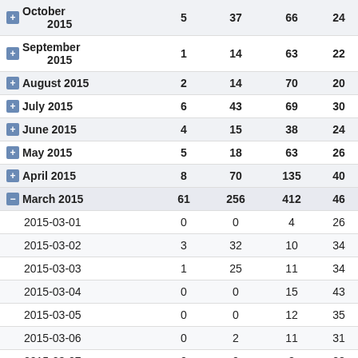| Month/Date | Col1 | Col2 | Col3 | Col4 |
| --- | --- | --- | --- | --- |
| October 2015 | 5 | 37 | 66 | 24 |
| September 2015 | 1 | 14 | 63 | 22 |
| August 2015 | 2 | 14 | 70 | 20 |
| July 2015 | 6 | 43 | 69 | 30 |
| June 2015 | 4 | 15 | 38 | 24 |
| May 2015 | 5 | 18 | 63 | 26 |
| April 2015 | 8 | 70 | 135 | 40 |
| March 2015 | 61 | 256 | 412 | 46 |
| 2015-03-01 | 0 | 0 | 4 | 26 |
| 2015-03-02 | 3 | 32 | 10 | 34 |
| 2015-03-03 | 1 | 25 | 11 | 34 |
| 2015-03-04 | 0 | 0 | 15 | 43 |
| 2015-03-05 | 0 | 0 | 12 | 35 |
| 2015-03-06 | 0 | 2 | 11 | 31 |
| 2015-03-07 | 0 | 0 | 8 | 28 |
| 2015-03-08 | 7 | 15 | 17 | 30 |
| 2015-03-09 | 2 | 21 | 15 | 30 |
| 2015-03-10 | 2 | 9 | 11 | 32 |
| 2015-03-11 | 0 | 5 | 14 | 33 |